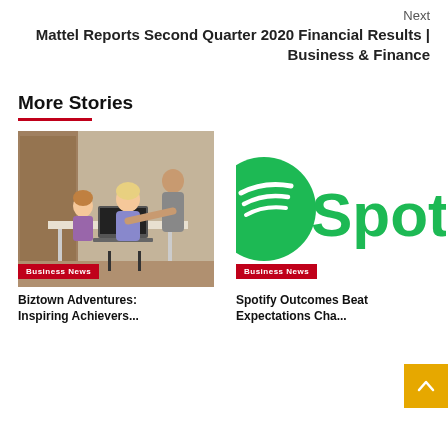Next
Mattel Reports Second Quarter 2020 Financial Results | Business & Finance
More Stories
[Figure (photo): A teacher helping young students working on laptops at a table in a classroom/library setting. Business News badge overlay.]
[Figure (logo): Spotify logo (partial, cropped) showing green icon and 'Spot' text. Business News badge overlay.]
Biztown Adventures: Inspiring Achievers...
Spotify Outcomes Beat Expectations Cha...